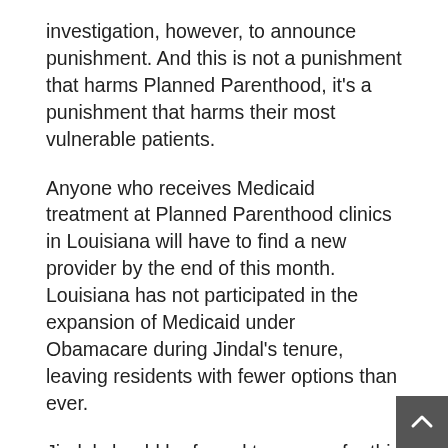investigation, however, to announce punishment. And this is not a punishment that harms Planned Parenthood, it's a punishment that harms their most vulnerable patients.
Anyone who receives Medicaid treatment at Planned Parenthood clinics in Louisiana will have to find a new provider by the end of this month. Louisiana has not participated in the expansion of Medicaid under Obamacare during Jindal's tenure, leaving residents with fewer options than ever.
Jindal should be forced to answer for this when state investigators inevitably conclude Planned Parenthood has done nothing wrong. Given that clinics in the state do not provide abortion or participate in tissue donation programs, it shouldn't take more than a few seconds to reach that conclusion.
Does the Jindal administration really require the assistance of the FBI to determine Planned Parenthood does not participate in a program that doesn't exist for a service they do not provide?